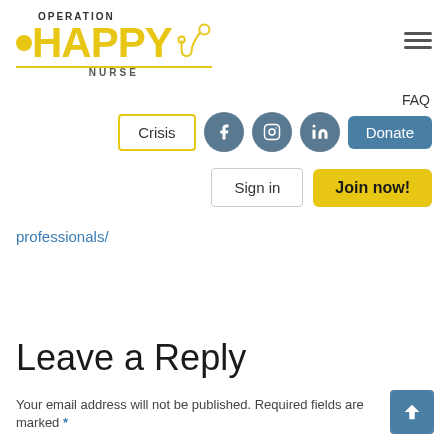[Figure (logo): Operation Happy Nurse logo with yellow HAPPY text, stethoscope graphic, and pill/dot element]
FAQ
Crisis  [Facebook]  [Instagram]  [LinkedIn]  Donate
Sign in   Join now!
professionals/
Leave a Reply
Your email address will not be published. Required fields are marked *